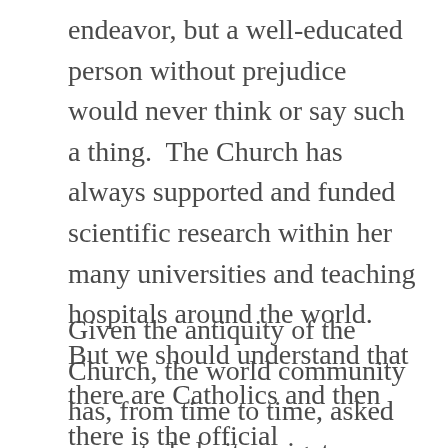endeavor, but a well-educated person without prejudice would never think or say such a thing. The Church has always supported and funded scientific research within her many universities and teaching hospitals around the world. But we should understand that there are Catholics and then there is the official Magisterium. Catholic scientists should be fully engaged in their fields, but the Magisterial voice of the Church should stand more aloof.
Given the antiquity of the Church, the world community has, from time to time, asked popes to help it navigate through scientific turning points. With respect, it is important for us to